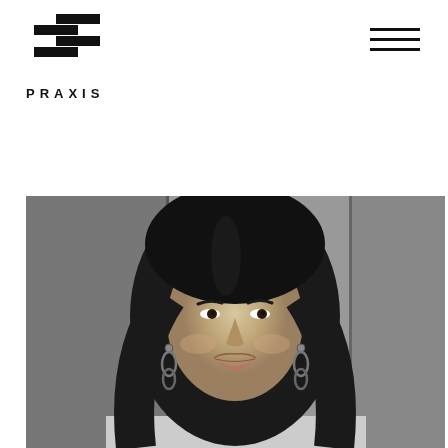[Figure (logo): Praxis logo with geometric zigzag/stepped black icon above the word PRAXIS in bold spaced capitals]
[Figure (photo): Black and white portrait photo of a smiling woman with dark hair and hoop earrings, cropped from shoulders up]